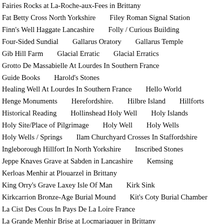Fairies Rocks at La-Roche-aux-Fees in Brittany
Fat Betty Cross North Yorkshire
Filey Roman Signal Station
Finn's Well Haggate Lancashire
Folly / Curious Building
Four-Sided Sundial
Gallarus Oratory
Gallarus Temple
Gib Hill Farm
Glacial Erratic
Glacial Erratics
Grotto De Massabielle At Lourdes In Southern France
Guide Books
Harold's Stones
Healing Well At Lourdes In Southern France
Hello World
Henge Monuments
Herefordshire.
Hilbre Island
Hillforts
Historical Reading
Hollinshead Holy Well
Holy Islands
Holy Site/Place of Pilgrimage
Holy Well
Holy Wells
Holy Wells / Springs
Ilam Churchyard Crosses In Staffordshire
Ingleborough Hillfort In North Yorkshire
Inscribed Stones
Jeppe Knaves Grave at Sabden in Lancashire
Kemsing
Kerloas Menhir at Plouarzel in Brittany
King Orry's Grave Laxey Isle Of Man
Kirk Sink
Kirkcarrion Bronze-Age Burial Mound
Kit's Coty Burial Chamber
La Cist Des Cous In Pays De La Loire France
La Grande Menhir Brise at Locmariaquer in Brittany